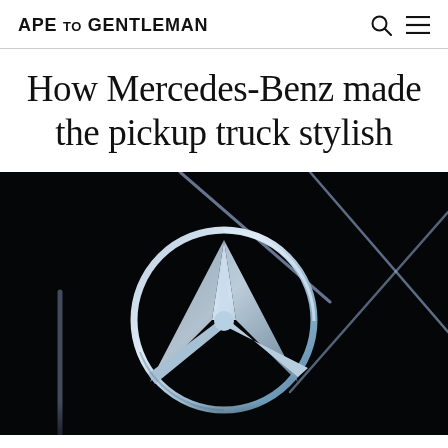APE TO GENTLEMAN
How Mercedes-Benz made the pickup truck stylish
[Figure (photo): Close-up photo of the illuminated Mercedes-Benz three-pointed star logo on a dark/black background with diagonal light streaks]